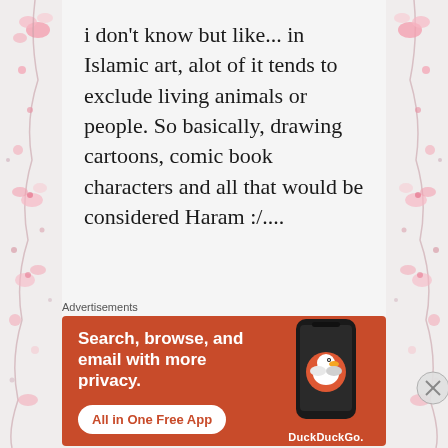i don't know but like... in Islamic art, alot of it tends to exclude living animals or people. So basically, drawing cartoons, comic book characters and all that would be considered Haram :/....
[Figure (illustration): Pink floral decorative border on left and right sides of the page]
Advertisements
[Figure (screenshot): DuckDuckGo advertisement banner with orange background. Text reads: Search, browse, and email with more privacy. All in One Free App. Shows DuckDuckGo logo and phone graphic.]